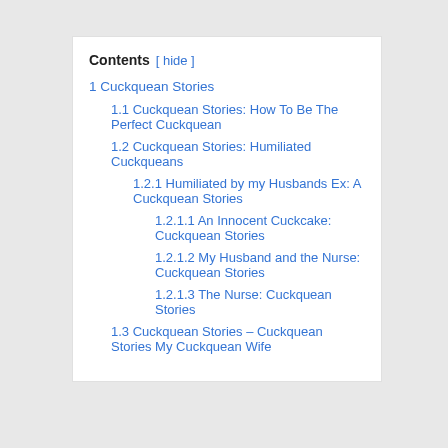Contents [ hide ]
1 Cuckquean Stories
1.1 Cuckquean Stories: How To Be The Perfect Cuckquean
1.2 Cuckquean Stories: Humiliated Cuckqueans
1.2.1 Humiliated by my Husbands Ex: A Cuckquean Stories
1.2.1.1 An Innocent Cuckcake: Cuckquean Stories
1.2.1.2 My Husband and the Nurse: Cuckquean Stories
1.2.1.3 The Nurse: Cuckquean Stories
1.3 Cuckquean Stories – Cuckquean Stories My Cuckquean Wife